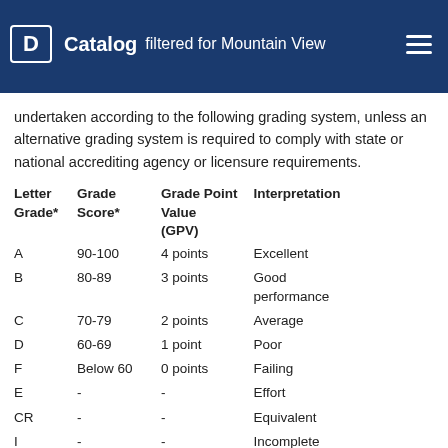Catalog filtered for Mountain View Campus
undertaken according to the following grading system, unless an alternative grading system is required to comply with state or national accrediting agency or licensure requirements.
| Letter Grade* | Grade Score* | Grade Point Value (GPV) | Interpretation |
| --- | --- | --- | --- |
| A | 90-100 | 4 points | Excellent |
| B | 80-89 | 3 points | Good performance |
| C | 70-79 | 2 points | Average |
| D | 60-69 | 1 point | Poor |
| F | Below 60 | 0 points | Failing |
| E | - | - | Effort |
| CR | - | - | Equivalent |
| I | - | - | Incomplete |
| W | - | - | Withdrawn |
| WX | - | - | Progress; Re-enrollment |